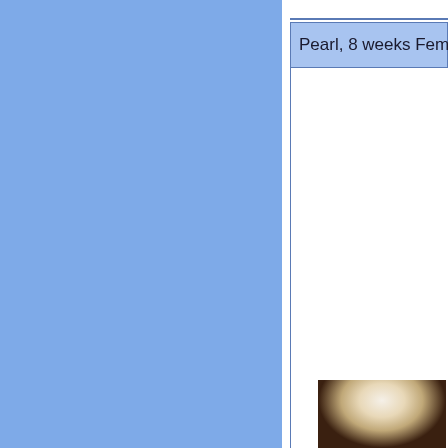Pearl, 8 weeks Female Shih Tz
[Figure (photo): Photo of a white fluffy Shih Tzu puppy against a dark brown background, showing the top/back of the dog's head with long white fur]